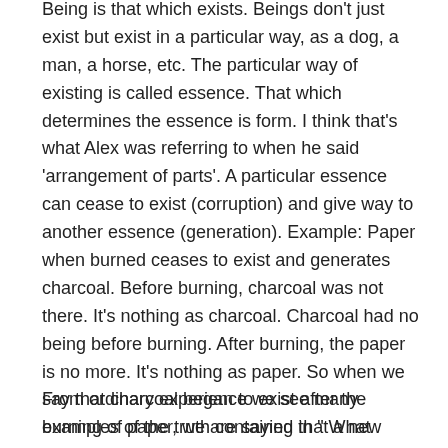Being is that which exists. Beings don't just exist but exist in a particular way, as a dog, a man, a horse, etc. The particular way of existing is called essence. That which determines the essence is form. I think that's what Alex was referring to when he said 'arrangement of parts'. A particular essence can cease to exist (corruption) and give way to another essence (generation). Example: Paper when burned ceases to exist and generates charcoal. Before burning, charcoal was not there. It's nothing as charcoal. Charcoal had no being before burning. After burning, the paper is no more. It's nothing as paper. So when we say that charcoal began to exist after the burning of paper, we are saying that a new form has emerged, ergo also a new essence. The efficient cause is what brings about the change in form. Formal change brings about a new being or causes something to begin to exist and another to cease to exist.
From ordinary experience we see many examples of the truth contained in " What begins to exist has a cause" . I